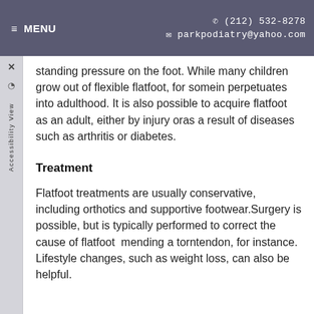≡ MENU  ☎ (212) 532-8278  ✉ parkpodiatry@yahoo.com
standing pressure on the foot. While many children grow out of flexible flatfoot, for somein perpetuates into adulthood. It is also possible to acquire flatfoot as an adult, either by injury oras a result of diseases such as arthritis or diabetes.
Treatment
Flatfoot treatments are usually conservative, including orthotics and supportive footwear.Surgery is possible, but is typically performed to correct the cause of flatfoot  mending a torntendon, for instance. Lifestyle changes, such as weight loss, can also be helpful.